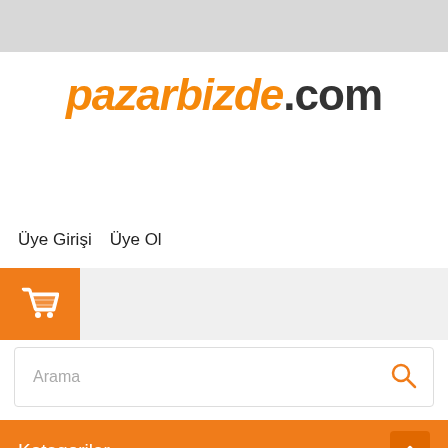[Figure (logo): pazarbizde.com logo with orange italic text for 'pazarbizde' and dark gray bold text for '.com']
Üye Girişi   Üye Ol
[Figure (other): Orange square cart icon button]
Arama
Kategoriler